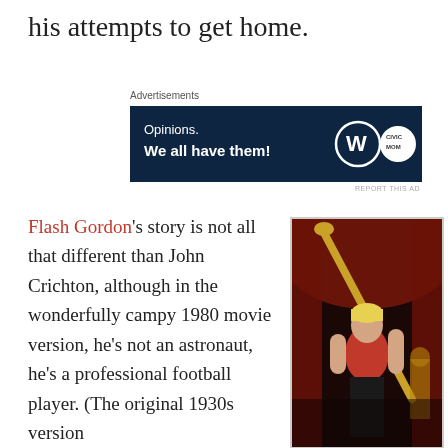his attempts to get home.
Advertisements
[Figure (other): Advertisement banner with dark navy background reading 'Opinions. We all have them!' with WordPress and CivicMom logos]
REPORT THIS AD
Flash Gordon's story is not all that different than John Crichton, although in the wonderfully campy 1980 movie version, he's not an astronaut, he's a professional football player. (The original 1930s version
[Figure (photo): Photo of Flash Gordon character in red and black costume holding a golden staff/sword in a dramatic pose against a dark red background with golden statues]